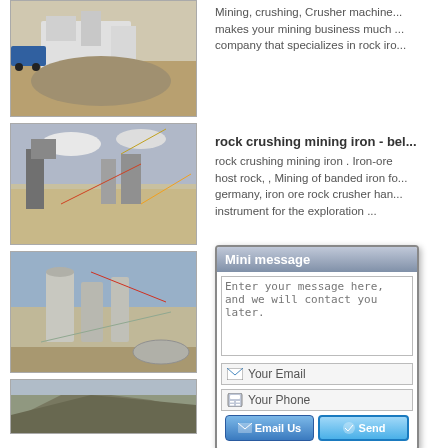[Figure (photo): Mining crusher machine with rock pile outdoors]
Mining, crushing, Crusher machine... makes your mining business much ... company that specializes in rock iro...
[Figure (photo): Open-pit mining facility with conveyor belts and silos]
rock crushing mining iron - bel...
rock crushing mining iron . Iron-ore host rock, , Mining of banded iron fo... germany, iron ore rock crusher han... instrument for the exploration ...
[Figure (photo): Large industrial mineral processing facility with silos and conveyor belts]
iron ore ... i...
India iron... ab... reliable s... an... ore bene... pp...
[Figure (screenshot): Mini message popup dialog with textarea for message, email field, phone field, and Email Us / Send buttons]
[Figure (photo): Mining site with excavated hillside terrain]
mining i... e
Small po... CRUSHER format...